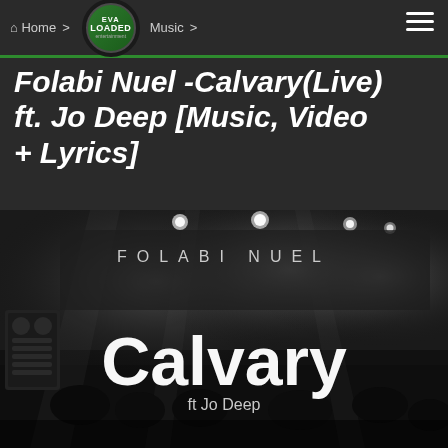Home > Music > Folabi Nuel -Calvary(Live)
Folabi Nuel -Calvary(Live) ft. Jo Deep [Music, Video + Lyrics]
[Figure (photo): Black and white photo of a live concert/music event with 'FOLABI NUEL' text at top and 'Calvary ft Jo Deep' text overlaid in large white letters on the image]